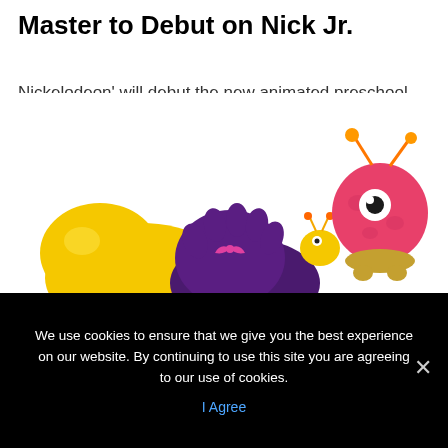Master to Debut on Nick Jr.
Nickelodeon' will debut the new animated preschool series Abby Hatcher in January. Created and produced by Spin Master Entertainment, Abby Hatcher follows the story of a little girl with a big heart who helps her friends, the Fuzzly creatures, fix their mishaps, learn from their mistakes and negotiate their emotions.
[Figure (illustration): Colorful animated Fuzzly creature characters from Abby Hatcher including a large yellow character, purple furry creatures, a small yellow creature, and a pink round one-eyed monster with orange antennae, shown from below against a white background.]
We use cookies to ensure that we give you the best experience on our website. By continuing to use this site you are agreeing to our use of cookies.
I Agree